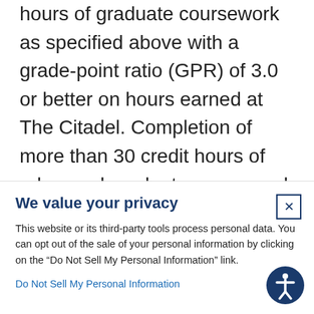hours of graduate coursework as specified above with a grade-point ratio (GPR) of 3.0 or better on hours earned at The Citadel. Completion of more than 30 credit hours of advanced graduate coursework will only be allowed for professional development, and may not be used to increase GPR to
We value your privacy
This website or its third-party tools process personal data. You can opt out of the sale of your personal information by clicking on the “Do Not Sell My Personal Information” link.
Do Not Sell My Personal Information